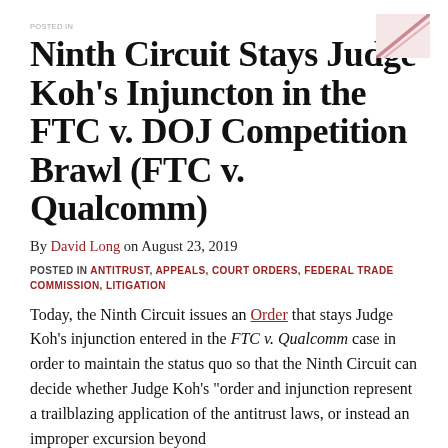Ninth Circuit Stays Judge Koh’s Injuncton in the FTC v. DOJ Competition Brawl (FTC v. Qualcomm)
By David Long on August 23, 2019
POSTED IN ANTITRUST, APPEALS, COURT ORDERS, FEDERAL TRADE COMMISSION, LITIGATION
Today, the Ninth Circuit issues an Order that stays Judge Koh’s injunction entered in the FTC v. Qualcomm case in order to maintain the status quo so that the Ninth Circuit can decide whether Judge Koh’s “order and injunction represent a trailblazing application of the antitrust laws, or instead an improper excursion beyond